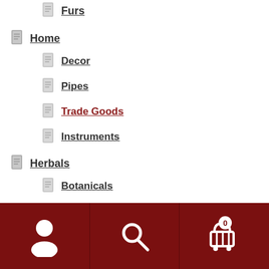Furs
Home
Decor
Pipes
Trade Goods
Instruments
Herbals
Botanicals
Media
CDs
Books
Stationery
DVDs